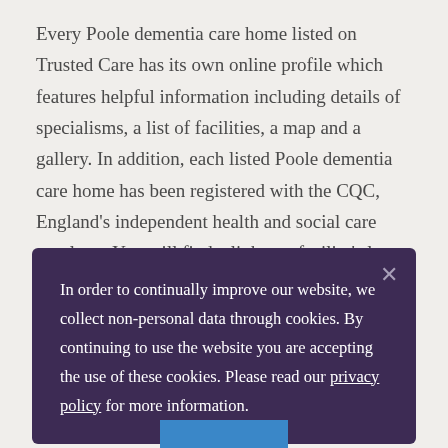Every Poole dementia care home listed on Trusted Care has its own online profile which features helpful information including details of specialisms, a list of facilities, a map and a gallery. In addition, each listed Poole dementia care home has been registered with the CQC, England's independent health and social care regulator. You will find a link to a facility's latest CQC report on their profile.
In order to continually improve our website, we collect non-personal data through cookies. By continuing to use the website you are accepting the use of these cookies. Please read our privacy policy for more information.